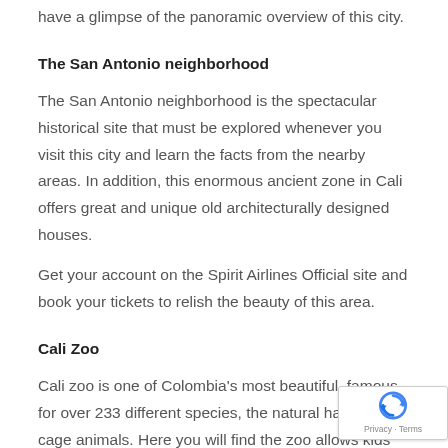have a glimpse of the panoramic overview of this city.
The San Antonio neighborhood
The San Antonio neighborhood is the spectacular historical site that must be explored whenever you visit this city and learn the facts from the nearby areas. In addition, this enormous ancient zone in Cali offers great and unique old architecturally designed houses.
Get your account on the Spirit Airlines Official site and book your tickets to relish the beauty of this area.
Cali Zoo
Cali zoo is one of Colombia's most beautiful, famous for over 233 different species, the natural habitat of cage animals. Here you will find the zoo allows kids without fee, and animals roam freely inside the zoo with freedom.